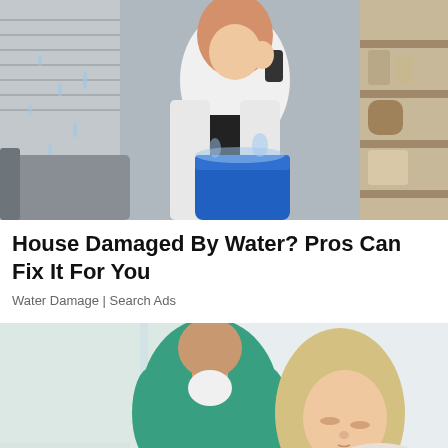[Figure (photo): Woman holding a blue bucket catching water dripping from ceiling, water damage scene indoors with shelving in background]
House Damaged By Water? Pros Can Fix It For You
Water Damage | Search Ads
[Figure (photo): A person in a green t-shirt performing a chiropractic or physical therapy neck adjustment on a woman with blonde hair]